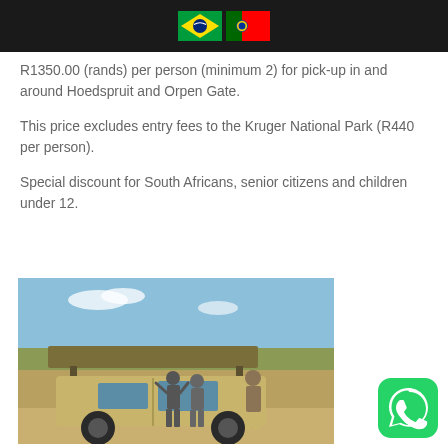[Brazilian flag] [Portuguese flag]
R1350.00 (rands) per person (minimum 2) for pick-up in and around Hoedspruit and Orpen Gate.
This price excludes entry fees to the Kruger National Park (R440 per person).
Special discount for South Africans, senior citizens and children under 12.
[Figure (photo): Safari vehicle (pickup truck with elevated open-top viewing canopy) parked on a road with three people standing beside it. Blue sky with light clouds in the background and dry bush landscape.]
[Figure (logo): WhatsApp green rounded square icon with white phone handset in speech bubble.]